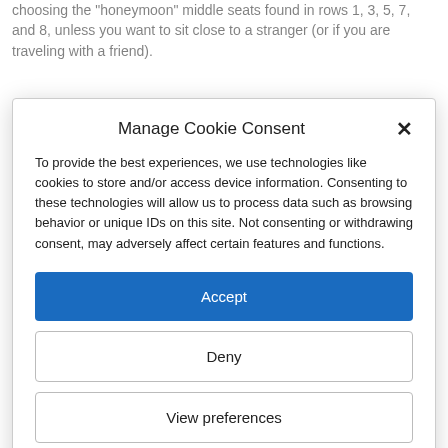choosing the "honeymoon" middle seats found in rows 1, 3, 5, 7, and 8, unless you want to sit close to a stranger (or if you are traveling with a friend).
[Figure (photo): Partial image strip visible behind cookie consent modal]
Manage Cookie Consent
To provide the best experiences, we use technologies like cookies to store and/or access device information. Consenting to these technologies will allow us to process data such as browsing behavior or unique IDs on this site. Not consenting or withdrawing consent, may adversely affect certain features and functions.
Accept
Deny
View preferences
Cookie Policy